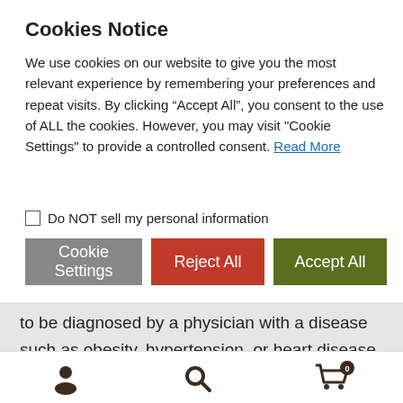Cookies Notice
We use cookies on our website to give you the most relevant experience by remembering your preferences and repeat visits. By clicking “Accept All”, you consent to the use of ALL the cookies. However, you may visit "Cookie Settings" to provide a controlled consent. Read More
☐ Do NOT sell my personal information
Cookie Settings   Reject All   Accept All
to be diagnosed by a physician with a disease such as obesity, hypertension, or heart disease to use funds in their HSA account. The IRS stipulates the following: You can include in medical expenses amounts you pay to lose weight if it is a treatment for a specific disease
[Figure (infographic): Bottom navigation bar with user/account icon, search magnifying glass icon, and shopping cart icon with badge showing 0]